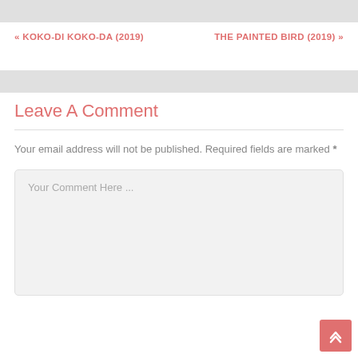« KOKO-DI KOKO-DA (2019)
THE PAINTED BIRD (2019) »
Leave A Comment
Your email address will not be published. Required fields are marked *
Your Comment Here ...